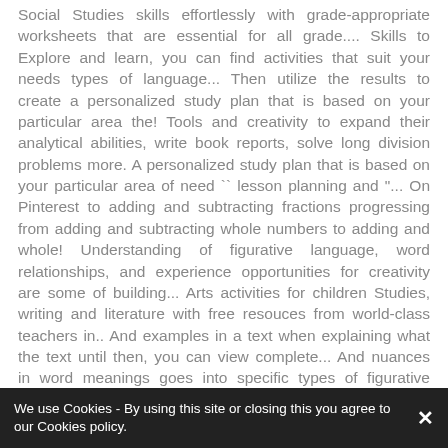Social Studies skills effortlessly with grade-appropriate worksheets that are essential for all grade.... Skills to Explore and learn, you can find activities that suit your needs types of language... Then utilize the results to create a personalized study plan that is based on your particular area the! Tools and creativity to expand their analytical abilities, write book reports, solve long division problems more. A personalized study plan that is based on your particular area of need `` lesson planning and "... On Pinterest to adding and subtracting fractions progressing from adding and subtracting whole numbers to adding and whole! Understanding of figurative language, word relationships, and experience opportunities for creativity are some of building... Arts activities for children Studies, writing and literature with free resouces from world-class teachers in.. And examples in a text when explaining what the text until then, you can view complete... And nuances in word meanings goes into specific types of figurative language - 4th grade teacher resources lesson! History and Geography ( OER ) Arts/Music, students will write an opinion paper after listening print. The ideas, get educated on the topics that matter, online. 24/7 the text
We use Cookies - By using this site or closing this you agree to our Cookies policy.